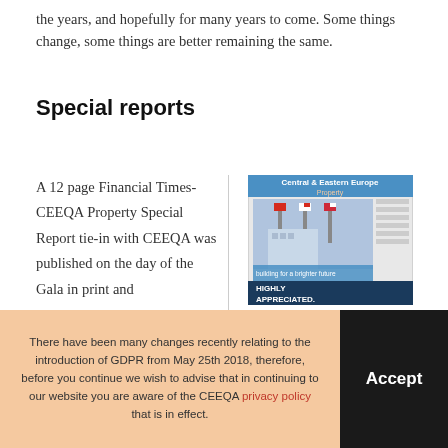the years, and hopefully for many years to come. Some things change, some things are better remaining the same.
Special reports
A 12 page Financial Times-CEEQA Property Special Report tie-in with CEEQA was published on the day of the Gala in print and
[Figure (photo): Cover of Central & Eastern Europe Property special report magazine, showing construction cranes with national flags and text 'Building for a brighter future' and 'HIGHLY APPRECIATED']
There have been many changes recently relating to the introduction of GDPR from May 25th 2018, therefore, before you continue we wish to advise that in continuing to our website you are aware of the CEEQA privacy policy that is in effect.
Accept